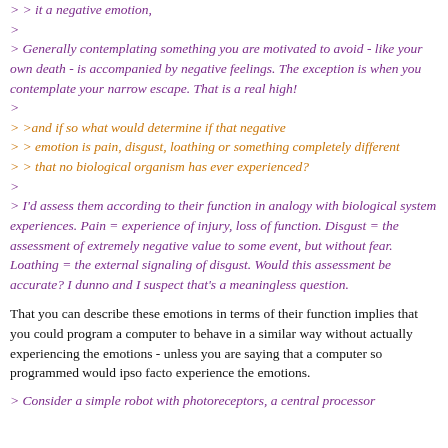> > it a negative emotion,
>
> Generally contemplating something you are motivated to avoid - like your own death - is accompanied by negative feelings. The exception is when you contemplate your narrow escape. That is a real high!
>
> >and if so what would determine if that negative
> > emotion is pain, disgust, loathing or something completely different
> > that no biological organism has ever experienced?
>
> I'd assess them according to their function in analogy with biological system experiences. Pain = experience of injury, loss of function. Disgust = the assessment of extremely negative value to some event, but without fear. Loathing = the external signaling of disgust. Would this assessment be accurate? I dunno and I suspect that's a meaningless question.
That you can describe these emotions in terms of their function implies that you could program a computer to behave in a similar way without actually experiencing the emotions - unless you are saying that a computer so programmed would ipso facto experience the emotions.
Consider a simple robot with photoreceptors, a central processor